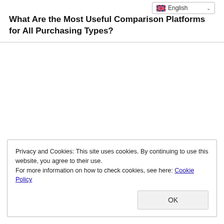What Are the Most Useful Comparison Platforms for All Purchasing Types?
Privacy and Cookies: This site uses cookies. By continuing to use this website, you agree to their use.
For more information on how to check cookies, see here: Cookie Policy